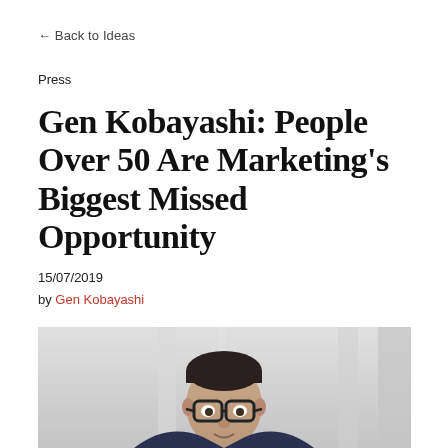← Back to Ideas
Press
Gen Kobayashi: People Over 50 Are Marketing's Biggest Missed Opportunity
15/07/2019
by Gen Kobayashi
[Figure (photo): Portrait photo of Gen Kobayashi, a man with dark hair wearing glasses and a dark jacket over a white shirt, photographed in a light indoor setting with blurred background.]